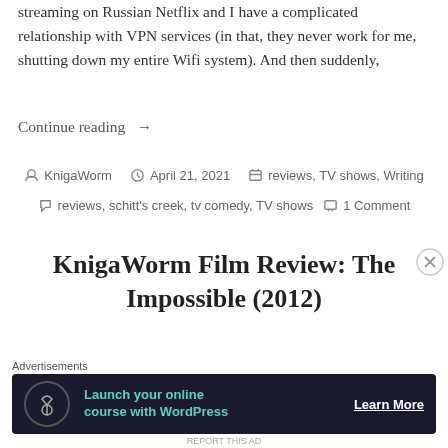streaming on Russian Netflix and I have a complicated relationship with VPN services (in that, they never work for me, shutting down my entire Wifi system). And then suddenly,
Continue reading →
KnigaWorm  April 21, 2021  reviews, TV shows, Writing  reviews, schitt's creek, tv comedy, TV shows  1 Comment
KnigaWorm Film Review: The Impossible (2012)
Advertisements
[Figure (other): Advertisement banner: dark background with tree/person icon, teal text 'Launch your online course with WordPress', white 'Learn More' button]